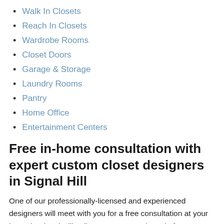Walk In Closets
Reach In Closets
Wardrobe Rooms
Closet Doors
Garage & Storage
Laundry Rooms
Pantry
Home Office
Entertainment Centers
Free in-home consultation with expert custom closet designers in Signal Hill
One of our professionally-licensed and experienced designers will meet with you for a free consultation at your home in Signal Hill to listen to your needs and after our consultation, we create a custom design that